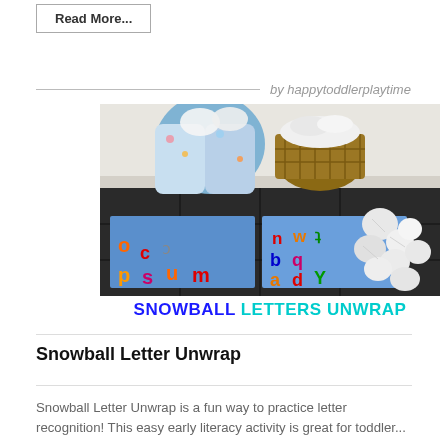Read More...
by happytoddlerplaytime
[Figure (photo): A toddler in pajamas sitting on a dark tile floor, crumpling white paper snowballs. There are two blue boards with colorful foam letters, a wicker basket with white paper, and crumpled white paper balls scattered on the floor.]
SNOWBALL LETTERS UNWRAP
Snowball Letter Unwrap
Snowball Letter Unwrap is a fun way to practice letter recognition! This easy early literacy activity is great for toddler...